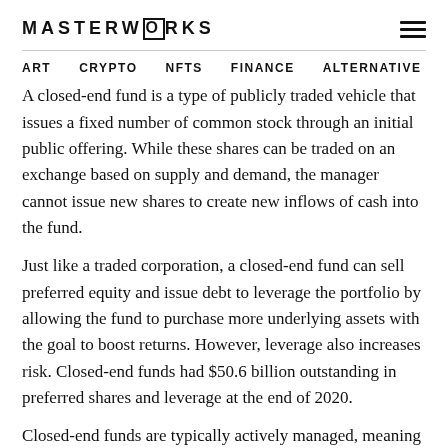MASTERWORKS
ART  CRYPTO  NFTS  FINANCE  ALTERNATIVE
A closed-end fund is a type of publicly traded vehicle that issues a fixed number of common stock through an initial public offering. While these shares can be traded on an exchange based on supply and demand, the manager cannot issue new shares to create new inflows of cash into the fund.
Just like a traded corporation, a closed-end fund can sell preferred equity and issue debt to leverage the portfolio by allowing the fund to purchase more underlying assets with the goal to boost returns. However, leverage also increases risk. Closed-end funds had $50.6 billion outstanding in preferred shares and leverage at the end of 2020.
Closed-end funds are typically actively managed, meaning